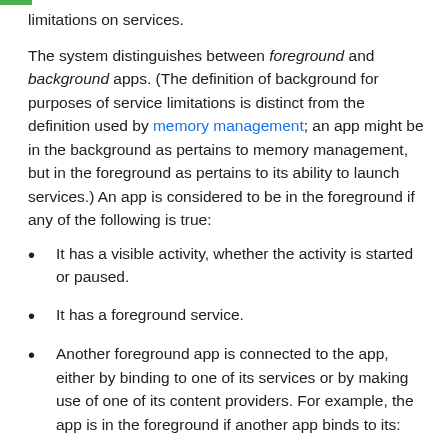limitations on services.
The system distinguishes between foreground and background apps. (The definition of background for purposes of service limitations is distinct from the definition used by memory management; an app might be in the background as pertains to memory management, but in the foreground as pertains to its ability to launch services.) An app is considered to be in the foreground if any of the following is true:
It has a visible activity, whether the activity is started or paused.
It has a foreground service.
Another foreground app is connected to the app, either by binding to one of its services or by making use of one of its content providers. For example, the app is in the foreground if another app binds to its: